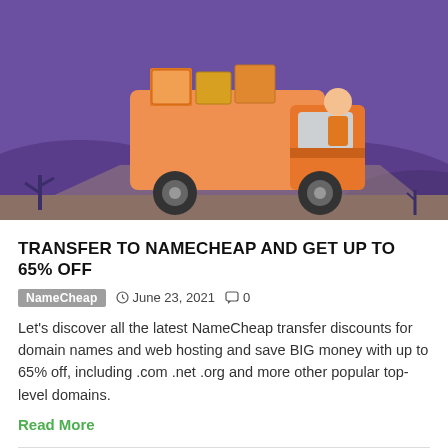[Figure (illustration): Illustrated scene with an orange moving truck on a purple/violet background with hills and plants. A character with boxes is visible on the truck. Style is flat cartoon illustration.]
TRANSFER TO NAMECHEAP AND GET UP TO 65% OFF
NameCheap  ©  June 23, 2021  💬  0
Let's discover all the latest NameCheap transfer discounts for domain names and web hosting and save BIG money with up to 65% off, including .com .net .org and more other popular top-level domains.
Read More
[Figure (illustration): Partial view of next article preview with teal background and mountain/landscape illustration at the bottom of the page.]